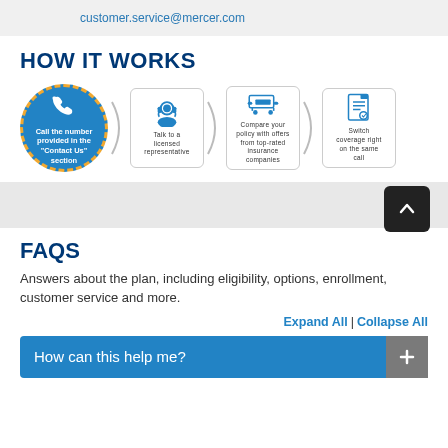customer.service@mercer.com
HOW IT WORKS
[Figure (infographic): Four-step process infographic showing: 1) Call the number provided in the Contact Us section (blue circle with phone icon), 2) Talk to a licensed representative (headset icon in rounded box), 3) Compare your policy with offers from top-rated insurance companies (shopping cart icon in rounded box), 4) Switch coverage right on the same call (document icon in rounded box). Steps connected by bracket arrows.]
FAQS
Answers about the plan, including eligibility, options, enrollment, customer service and more.
Expand All | Collapse All
How can this help me?